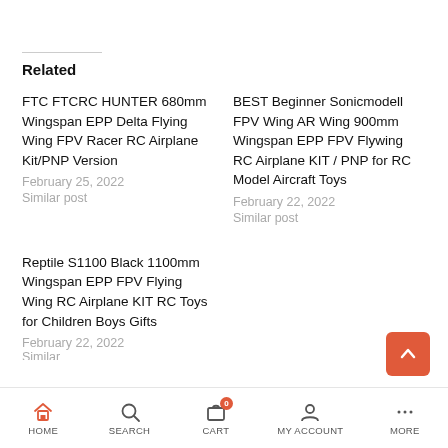Related
FTC FTCRC HUNTER 680mm Wingspan EPP Delta Flying Wing FPV Racer RC Airplane Kit/PNP Version
February 25, 2022
Similar post
BEST Beginner Sonicmodell FPV Wing AR Wing 900mm Wingspan EPP FPV Flywing RC Airplane KIT / PNP for RC Model Aircraft Toys
February 22, 2022
Similar post
Reptile S1100 Black 1100mm Wingspan EPP FPV Flying Wing RC Airplane KIT RC Toys for Children Boys Gifts
February 22, 2022
Similar post
HOME  SEARCH  CART  MY ACCOUNT  MORE